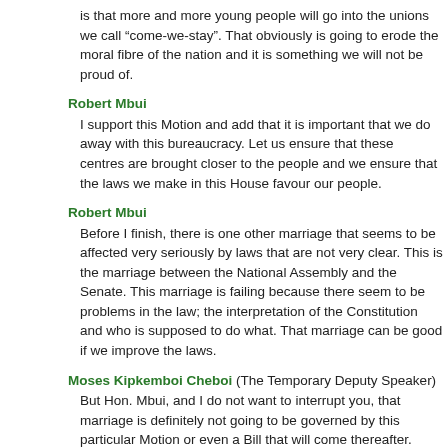is that more and more young people will go into the unions we call “come-we-stay”. That obviously is going to erode the moral fibre of the nation and it is something we will not be proud of.
Robert Mbui
I support this Motion and add that it is important that we do away with this bureaucracy. Let us ensure that these centres are brought closer to the people and we ensure that the laws we make in this House favour our people.
Robert Mbui
Before I finish, there is one other marriage that seems to be affected very seriously by laws that are not very clear. This is the marriage between the National Assembly and the Senate. This marriage is failing because there seem to be problems in the law; the interpretation of the Constitution and who is supposed to do what. That marriage can be good if we improve the laws.
Moses Kipkemboi Cheboi (The Temporary Deputy Speaker)
But Hon. Mbui, and I do not want to interrupt you, that marriage is definitely not going to be governed by this particular Motion or even a Bill that will come thereafter. That is a totally different sort of marriage which is not recognised in our statutes.